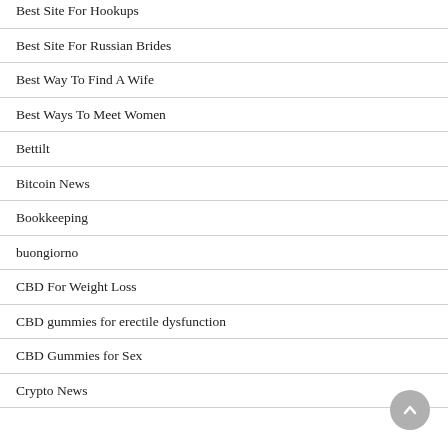Best Site For Hookups
Best Site For Russian Brides
Best Way To Find A Wife
Best Ways To Meet Women
Bettilt
Bitcoin News
Bookkeeping
buongiorno
CBD For Weight Loss
CBD gummies for erectile dysfunction
CBD Gummies for Sex
Crypto News